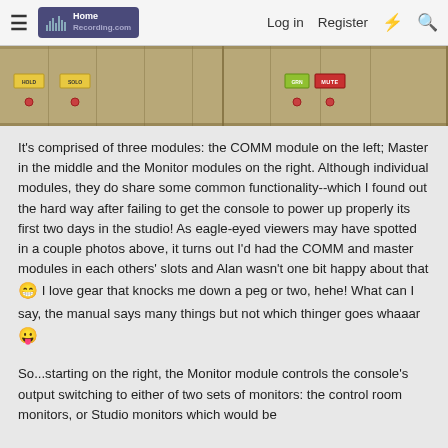HomeRecording.com  Log in  Register
[Figure (photo): Close-up photo of a recording console showing HOLD, SOLO, and MUTE buttons on tan/beige colored modules]
It's comprised of three modules: the COMM module on the left; Master in the middle and the Monitor modules on the right. Although individual modules, they do share some common functionality--which I found out the hard way after failing to get the console to power up properly its first two days in the studio! As eagle-eyed viewers may have spotted in a couple photos above, it turns out I'd had the COMM and master modules in each others' slots and Alan wasn't one bit happy about that 😁 I love gear that knocks me down a peg or two, hehe! What can I say, the manual says many things but not which thinger goes whaaar 😛
So...starting on the right, the Monitor module controls the console's output switching to either of two sets of monitors: the control room monitors, or Studio monitors which would be...